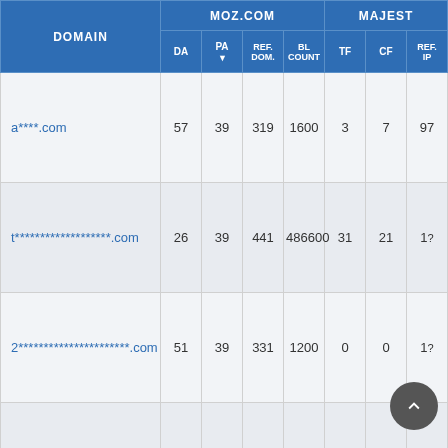| DOMAIN | DA | PA | REF. DOM. | BL COUNT | TF | CF | REF. IP |
| --- | --- | --- | --- | --- | --- | --- | --- |
| a****.com | 57 | 39 | 319 | 1600 | 3 | 7 | 97 |
| t*******************.com | 26 | 39 | 441 | 486600 | 31 | 21 | 1? |
| 2**********************.com | 51 | 39 | 331 | 1200 | 0 | 0 | 1? |
| o****.info | 1 | 39 | 323 | 25200 | 6 | 33 | 25 |